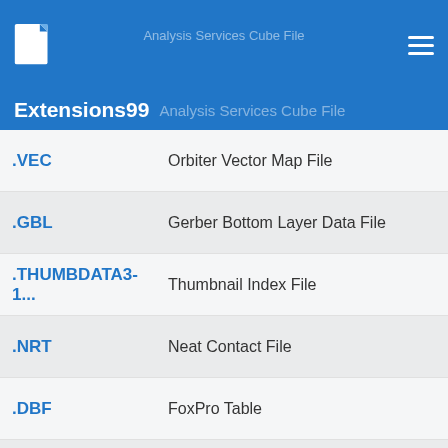Extensions99 Analysis Services Cube File
| Extension | Description |
| --- | --- |
| .VEC | Orbiter Vector Map File |
| .GBL | Gerber Bottom Layer Data File |
| .THUMBDATA3-1... | Thumbnail Index File |
| .NRT | Neat Contact File |
| .DBF | FoxPro Table |
| .TST | TestPoint Test File |
| .CTV | Citavi Project |
| .DSY | Directory Synchronizer Project File |
| .NST | Outlook Connector for Notes File |
| .PD4 | Clone Manager Primer File |